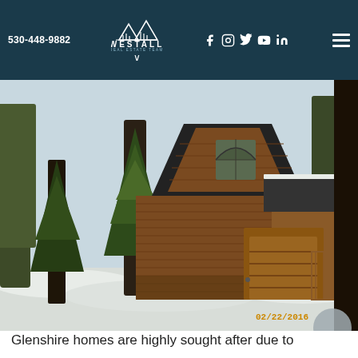530-448-9882 | WESTALL REAL ESTATE TEAM | Social icons | Menu
[Figure (photo): Exterior photo of a rustic wood-sided A-frame cabin surrounded by pine trees with snow on the ground, dated 02/22/2016]
Glenshire homes are highly sought after due to